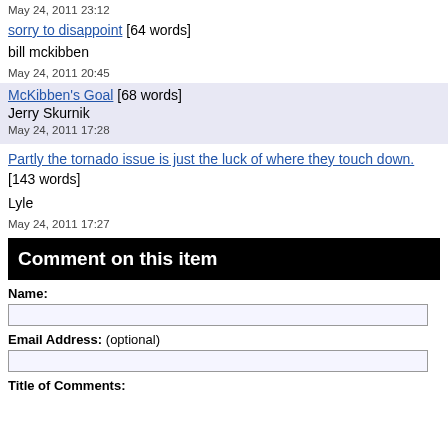May 24, 2011 23:12
sorry to disappoint [64 words]
bill mckibben
May 24, 2011 20:45
McKibben's Goal [68 words]
Jerry Skurnik
May 24, 2011 17:28
Partly the tornado issue is just the luck of where they touch down. [143 words]
Lyle
May 24, 2011 17:27
Comment on this item
Name:
Email Address: (optional)
Title of Comments: